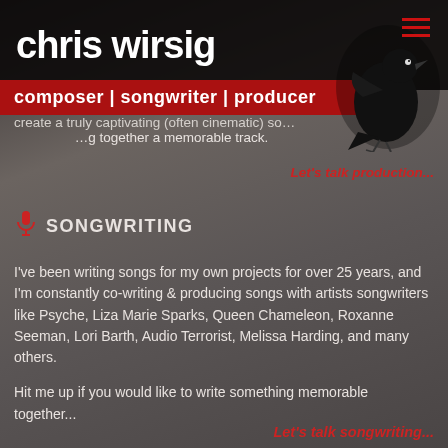chris wirsig
composer | songwriter | producer
By combining acoustic instruments, I'll help you to create a truly captivating (often cinematic) sound, bringing together a memorable track.
Let's talk production...
🎤 SONGWRITING
I've been writing songs for my own projects for over 25 years, and I'm constantly co-writing & producing songs with artists songwriters like Psyche, Liza Marie Sparks, Queen Chameleon, Roxanne Seeman, Lori Barth, Audio Terrorist, Melissa Harding, and many others.
Hit me up if you would like to write something memorable together...
Let's talk songwriting...